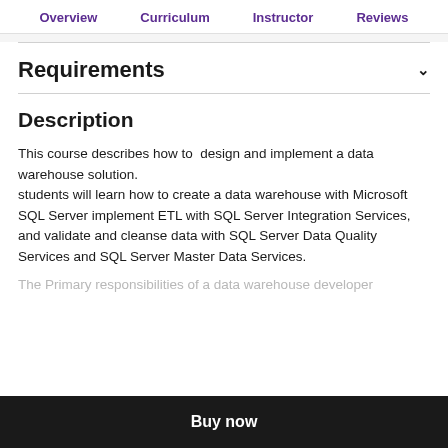Overview  Curriculum  Instructor  Reviews
Requirements
Description
This course describes how to  design and implement a data warehouse solution.
students will learn how to create a data warehouse with Microsoft SQL Server implement ETL with SQL Server Integration Services, and validate and cleanse data with SQL Server Data Quality Services and SQL Server Master Data Services.
The Primary responsibilities of a data warehouse developer
Buy now